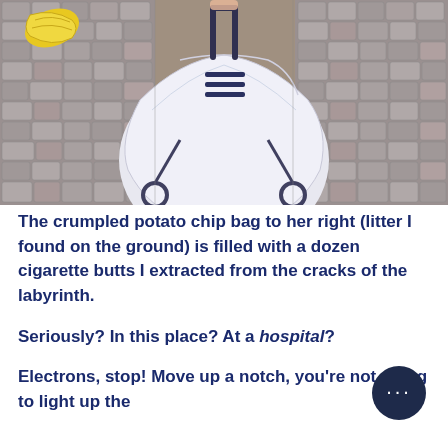[Figure (photo): Aerial view of a baby stroller covered with a white cloth/canopy on a brick/cobblestone pavement, photographed from above. A crumpled yellow snack bag is visible to the upper left.]
The crumpled potato chip bag to her right (litter I found on the ground) is filled with a dozen cigarette butts I extracted from the cracks of the labyrinth.
Seriously? In this place? At a hospital?
Electrons, stop! Move up a notch, you're not going to light up the